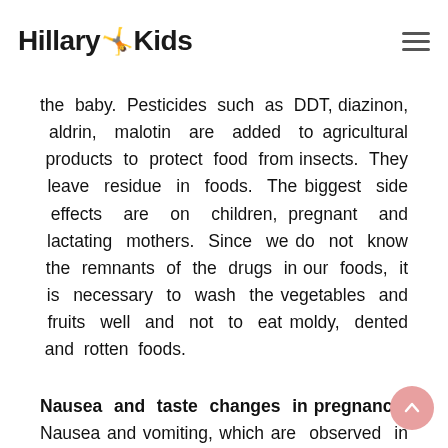Hillary Kids
the baby. Pesticides such as DDT, diazinon, aldrin, malotin are added to agricultural products to protect food from insects. They leave residue in foods. The biggest side effects are on children, pregnant and lactating mothers. Since we do not know the remnants of the drugs in our foods, it is necessary to wash the vegetables and fruits well and not to eat moldy, dented and rotten foods.
Nausea and taste changes in pregnancy:
Nausea and vomiting, which are observed in the first weeks of pregnancy and of unknown cause, are natural and this directly affects the